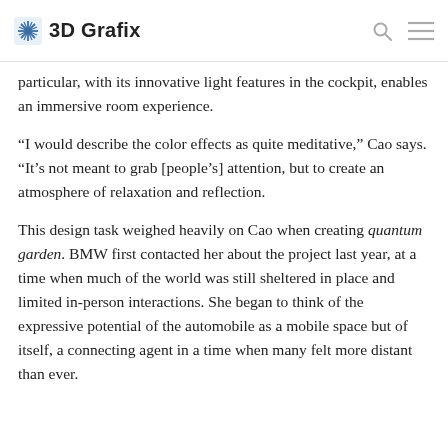3D Grafix
particular, with its innovative light features in the cockpit, enables an immersive room experience.
“I would describe the color effects as quite meditative,” Cao says. “It’s not meant to grab [people’s] attention, but to create an atmosphere of relaxation and reflection.
This design task weighed heavily on Cao when creating quantum garden. BMW first contacted her about the project last year, at a time when much of the world was still sheltered in place and limited in-person interactions. She began to think of the expressive potential of the automobile as a mobile space but of itself, a connecting agent in a time when many felt more distant than ever.